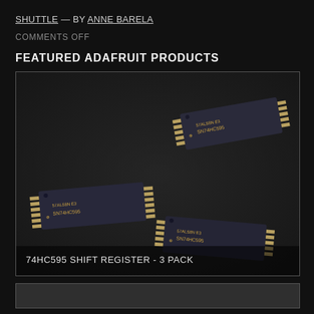SHUTTLE — BY ANNE BARELA
COMMENTS OFF
FEATURED ADAFRUIT PRODUCTS
[Figure (photo): Three 74HC595 shift register DIP ICs arranged on a dark background, showing their gold metal pins. Text overlay reads: 74HC595 SHIFT REGISTER - 3 PACK]
[Figure (photo): Partial view of another dark background product image, bottom of page]